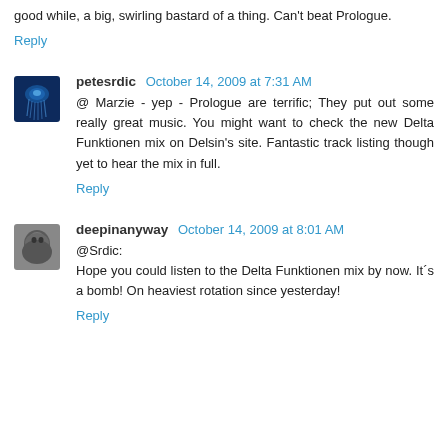good while, a big, swirling bastard of a thing. Can't beat Prologue.
Reply
petesrdic  October 14, 2009 at 7:31 AM
@ Marzie - yep - Prologue are terrific; They put out some really great music. You might want to check the new Delta Funktionen mix on Delsin's site. Fantastic track listing though yet to hear the mix in full.
Reply
deepinanyway  October 14, 2009 at 8:01 AM
@Srdic:
Hope you could listen to the Delta Funktionen mix by now. It´s a bomb! On heaviest rotation since yesterday!
Reply